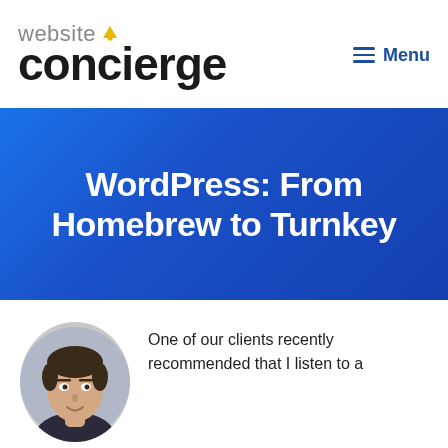[Figure (logo): Website Concierge logo with bell icon above 'concierge' text]
≡ Menu
WordPress: From Homebrew to Turnkey
[Figure (photo): Circular headshot of a young man with dark hair]
One of our clients recently recommended that I listen to a